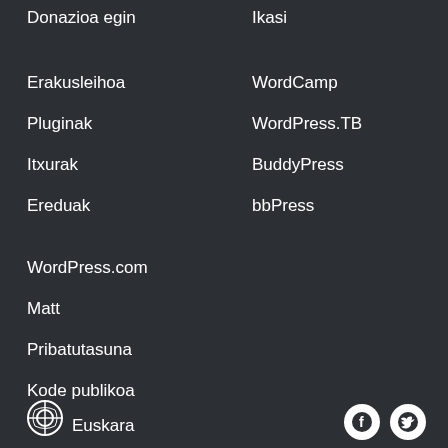Donazioa egin
Ikasi
Erakusleihoa
WordCamp
Pluginak
WordPress.TB
Itxurak
BuddyPress
Ereduak
bbPress
WordPress.com
Matt
Pribatutasuna
Kode publikoa
Euskara